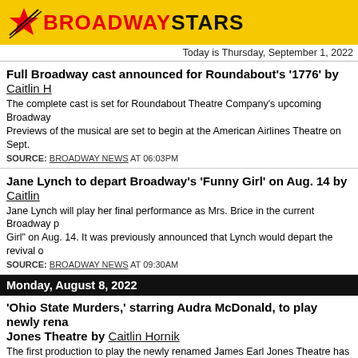BROADWAY STARS — Today is Thursday, September 1, 2022
Full Broadway cast announced for Roundabout's '1776' by Caitlin [Hornik]
The complete cast is set for Roundabout Theatre Company's upcoming Broadway production of '1776'. Previews of the musical are set to begin at the American Airlines Theatre on Sept.
SOURCE: BROADWAY NEWS AT 06:03PM
Jane Lynch to depart Broadway's 'Funny Girl' on Aug. 14 by Caitlin [Hornik]
Jane Lynch will play her final performance as Mrs. Brice in the current Broadway production of 'Funny Girl' on Aug. 14. It was previously announced that Lynch would depart the revival of...
SOURCE: BROADWAY NEWS AT 09:30AM
Monday, August 8, 2022
'Ohio State Murders,' starring Audra McDonald, to play newly renamed James Earl Jones Theatre by Caitlin Hornik
The first production to play the newly renamed James Earl Jones Theatre has been announced. Adrienne Kennedy's "Ohio State Murders," starring Audra McDonald, will begin previews on
SOURCE: BROADWAY NEWS AT 03:00PM
Lillias White to join Broadway's 'Hadestown' as Hermes by Caitlin [Hornik]
Lillias White is set to join the Tony-winning musical "Hadestown" in the role of Hermes. White will become the first female-identifying actor to play the role. White, a ...
SOURCE: BROADWAY NEWS AT 01:00PM
Thursday, August 4, 2022